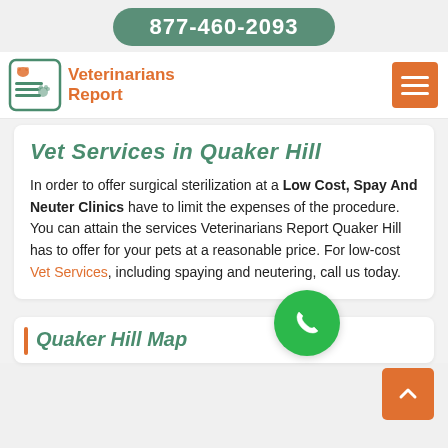877-460-2093
[Figure (logo): Veterinarians Report logo with pet icons and document illustration]
Vet Services in Quaker Hill
In order to offer surgical sterilization at a Low Cost, Spay And Neuter Clinics have to limit the expenses of the procedure. You can attain the services Veterinarians Report Quaker Hill has to offer for your pets at a reasonable price. For low-cost Vet Services, including spaying and neutering, call us today.
Quaker Hill Map